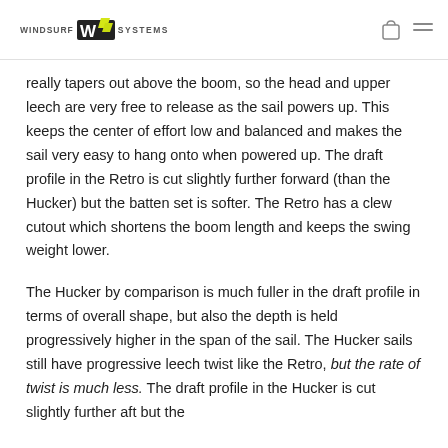WINDSURF SYSTEMS
really tapers out above the boom, so the head and upper leech are very free to release as the sail powers up. This keeps the center of effort low and balanced and makes the sail very easy to hang onto when powered up. The draft profile in the Retro is cut slightly further forward (than the Hucker) but the batten set is softer. The Retro has a clew cutout which shortens the boom length and keeps the swing weight lower.
The Hucker by comparison is much fuller in the draft profile in terms of overall shape, but also the depth is held progressively higher in the span of the sail. The Hucker sails still have progressive leech twist like the Retro, but the rate of twist is much less. The draft profile in the Hucker is cut slightly further aft but the